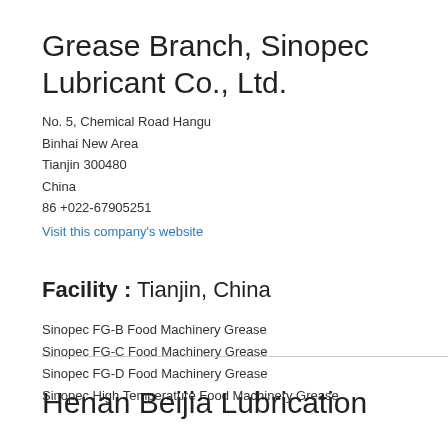Grease Branch, Sinopec Lubricant Co., Ltd.
No. 5, Chemical Road Hangu
Binhai New Area
Tianjin 300480
China
86 +022-67905251
Visit this company's website
Facility : Tianjin, China
Sinopec FG-B Food Machinery Grease
Sinopec FG-C Food Machinery Grease
Sinopec FG-D Food Machinery Grease
Sinopec High Temperature Food Machinery Grease
Henan Beijia Lubrication